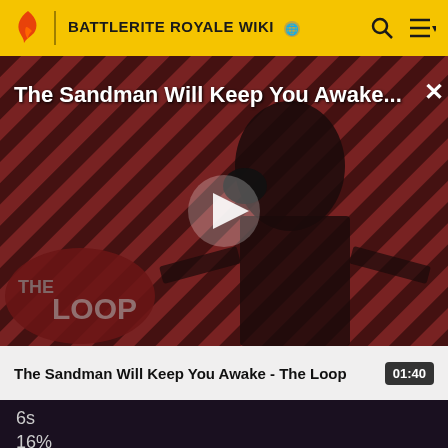BATTLERITE ROYALE WIKI
[Figure (screenshot): Video thumbnail showing a dark-cloaked figure against a red and black diagonal striped background with 'THE LOOP' branding. A white play button triangle is centered. Title reads 'The Sandman Will Keep You Awake...' in white text at top.]
The Sandman Will Keep You Awake - The Loop
01:40
6s
16%